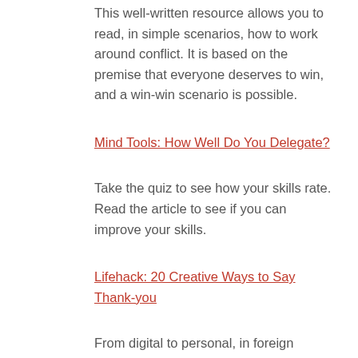This well-written resource allows you to read, in simple scenarios, how to work around conflict. It is based on the premise that everyone deserves to win, and a win-win scenario is possible.
Mind Tools: How Well Do You Delegate?
Take the quiz to see how your skills rate. Read the article to see if you can improve your skills.
Lifehack: 20 Creative Ways to Say Thank-you
From digital to personal, in foreign languages or by sending cookies, this site helps make being thankful, and sending thank-yous, less of a chore.
Mind Tools: Dealing With Angry People
Management of an emotional situation can depend